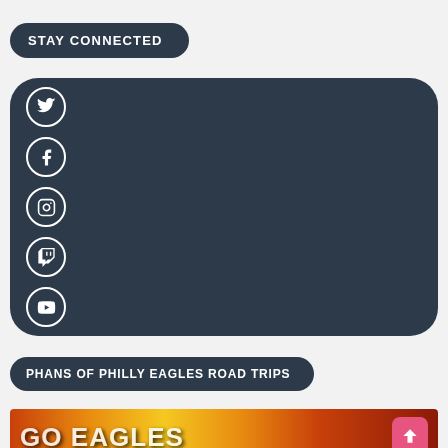STAY CONNECTED
[Figure (infographic): Social media icons block: Twitter, Facebook, Instagram, Twitch, YouTube icons in white circles on dark navy rounded rectangle background]
PHANS OF PHILLY EAGLES ROAD TRIPS
[Figure (photo): Colorful banner image for Phans of Philly Eagles Road Trips at the bottom of the page, partially visible, with orange/yellow/red gradient colors and stylized text]